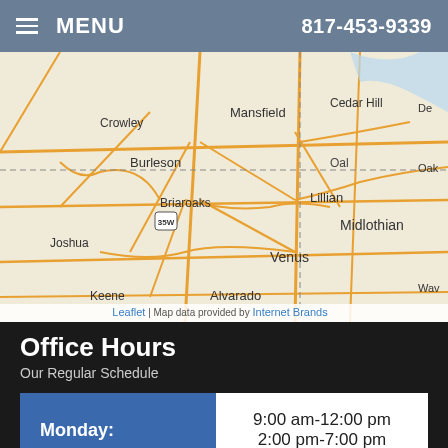MENU  817-453-9339
[Figure (map): Street map showing areas including Crowley, Mansfield, Cedar Hill, Burleson, Briaroaks, Lillian, Midlothian, Joshua, Venus, Keene, Alvarado, with highway 35W marked. Leaflet map data provided by Internet Brands.]
Office Hours
Our Regular Schedule
| Day | Hours |
| --- | --- |
| Monday: | 9:00 am-12:00 pm
2:00 pm-7:00 pm |